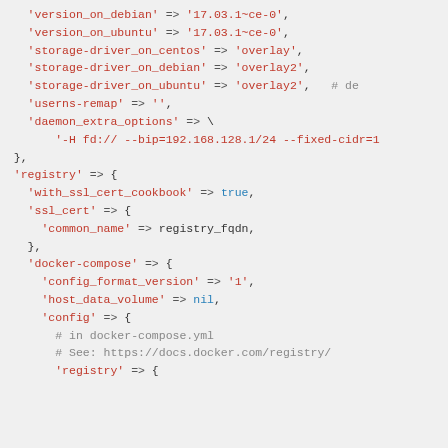Code block showing Ruby/Chef hash configuration with docker, registry, ssl_cert, docker-compose settings